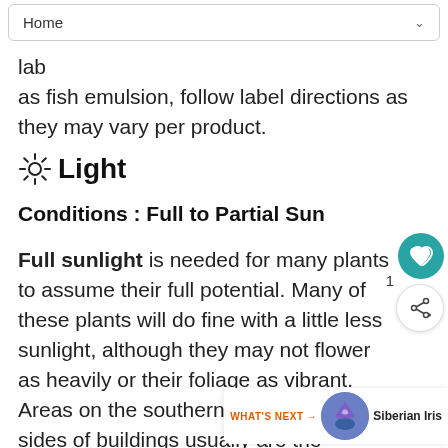Home
as fish emulsion, follow label directions as they may vary per product.
☀ Light
Conditions : Full to Partial Sun
Full sunlight is needed for many plants to assume their full potential. Many of these plants will do fine with a little less sunlight, although they may not flower as heavily or their foliage as vibrant. Areas on the southern and western sides of buildings usually are the sunniest. The only exception is when houses or buildings are so close